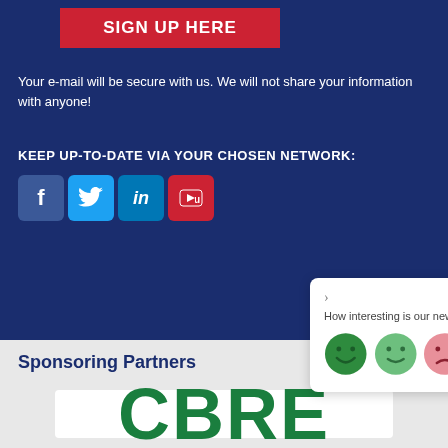SIGN UP HERE
Your e-mail will be secure with us. We will not share your information with anyone!
KEEP UP-TO-DATE VIA YOUR CHOSEN NETWORK:
[Figure (infographic): Social media icons: Facebook, Twitter, LinkedIn, YouTube]
[Figure (infographic): Feedback popup asking 'How interesting is our news today?' with four smiley face rating icons ranging from very happy (dark green) to sad (dark red)]
Sponsoring Partners
[Figure (logo): CBRE logo in large bold green text on white background]